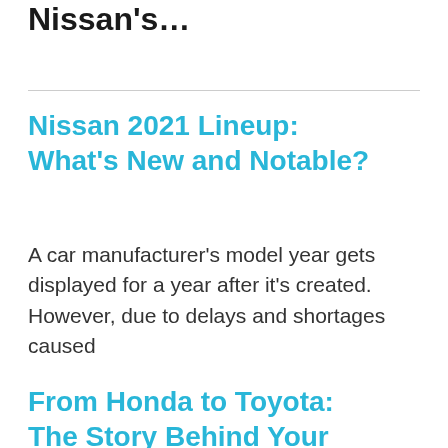Nissan's...
Nissan 2021 Lineup: What's New and Notable?
A car manufacturer's model year gets displayed for a year after it's created. However, due to delays and shortages caused
From Honda to Toyota: The Story Behind Your